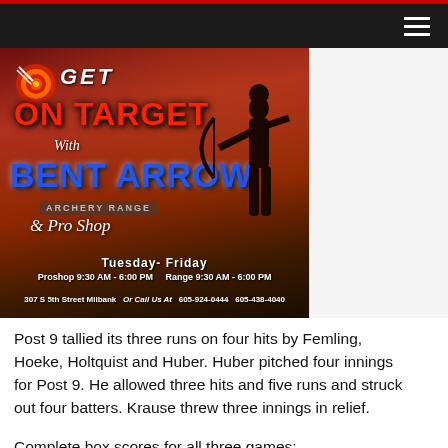Navigation bar with menu icon
[Figure (illustration): Get On Target With Bent Arrow Archery Range & Pro Shop advertisement. Tuesday-Friday. Proshop 9:30 AM - 6:00 PM. Range 9:30 AM - 6:00 PM. 307 S 5th Street Milbank. Or Call Us At 605-924-0444 605-438-4040. Features archery target logo and silhouette of archer.]
Post 9 tallied its three runs on four hits by Femling, Hoeke, Holtquist and Huber. Huber pitched four innings for Post 9. He allowed three hits and five runs and struck out four batters. Krause threw three innings in relief.
Complete box scores for all three games: